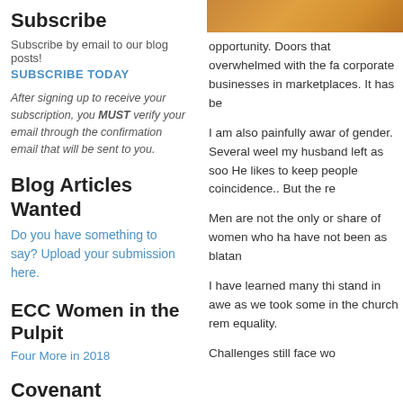Subscribe
Subscribe by email to our blog posts!
SUBSCRIBE TODAY
After signing up to receive your subscription, you MUST verify your email through the confirmation email that will be sent to you.
Blog Articles Wanted
Do you have something to say? Upload your submission here.
ECC Women in the Pulpit
Four More in 2018
Covenant Resources
[Figure (photo): Three book covers shown side by side in black and white, with letters C A L D and G O D S visible, an ampersand symbol, with faces of women on the covers.]
[Figure (photo): Orange/amber colored image at the top right, partial view.]
opportunity. Doors that overwhelmed with the fa corporate businesses in marketplaces. It has be
I am also painfully awar of gender. Several weel my husband left as soo He likes to keep people coincidence.. But the re
Men are not the only or share of women who ha have not been as blatan
I have learned many thi stand in awe as we took some in the church rem equality.
Challenges still face wo